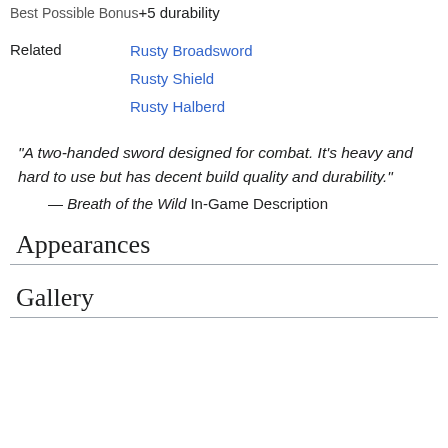+5 durability
Rusty Broadsword
Rusty Shield
Rusty Halberd
"A two-handed sword designed for combat. It's heavy and hard to use but has decent build quality and durability."
— Breath of the Wild In-Game Description
Appearances
Gallery